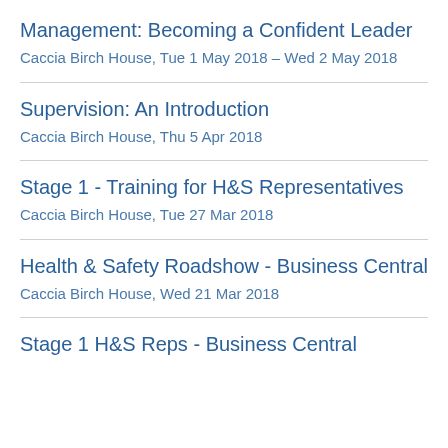Management: Becoming a Confident Leader
Caccia Birch House, Tue 1 May 2018 – Wed 2 May 2018
Supervision: An Introduction
Caccia Birch House, Thu 5 Apr 2018
Stage 1 - Training for H&S Representatives
Caccia Birch House, Tue 27 Mar 2018
Health & Safety Roadshow - Business Central
Caccia Birch House, Wed 21 Mar 2018
Stage 1 H&S Reps - Business Central